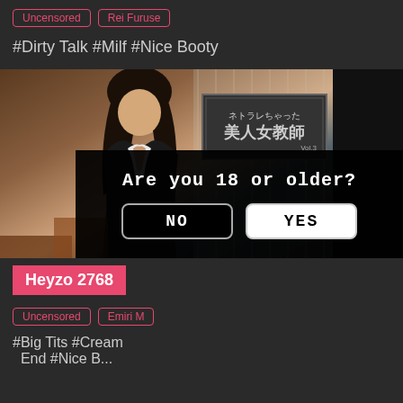Uncensored | Rei Furuse
#Dirty Talk #Milf #Nice Booty
[Figure (photo): Screenshot of adult content website showing a photo with age verification overlay dialog reading 'Are you 18 or older?' with NO and YES buttons]
Heyzo 2768
Uncensored | Emiri M
#Big Tits #Cream... End #Nice B...